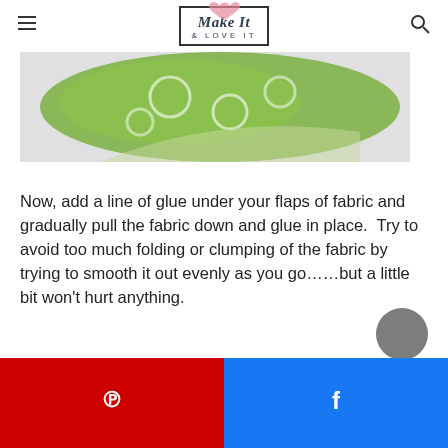Make It & Love It
[Figure (photo): Green patterned fabric piece, top portion visible, partially folded, on white/grey background]
Now, add a line of glue under your flaps of fabric and gradually pull the fabric down and glue in place.  Try to avoid too much folding or clumping of the fabric by trying to smooth it out evenly as you go……but a little bit won't hurt anything.
[Figure (photo): Green patterned fabric teardrop/cone shape on white/grey background]
Pinterest share button | Facebook share button